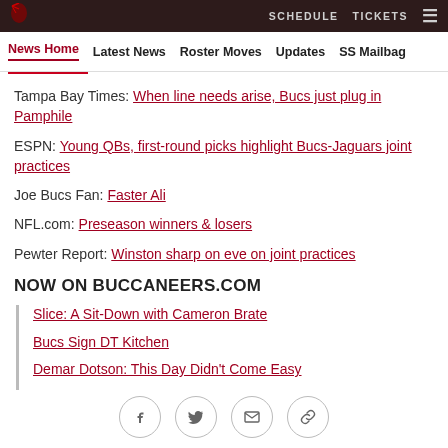SCHEDULE   TICKETS   ☰
News Home  Latest News  Roster Moves  Updates  SS Mailbag
Tampa Bay Times: When line needs arise, Bucs just plug in Pamphile
ESPN: Young QBs, first-round picks highlight Bucs-Jaguars joint practices
Joe Bucs Fan: Faster Ali
NFL.com: Preseason winners & losers
Pewter Report: Winston sharp on eve on joint practices
NOW ON BUCCANEERS.COM
Slice: A Sit-Down with Cameron Brate
Bucs Sign DT Kitchen
Demar Dotson: This Day Didn't Come Easy
Winston Set for FSU Reunion